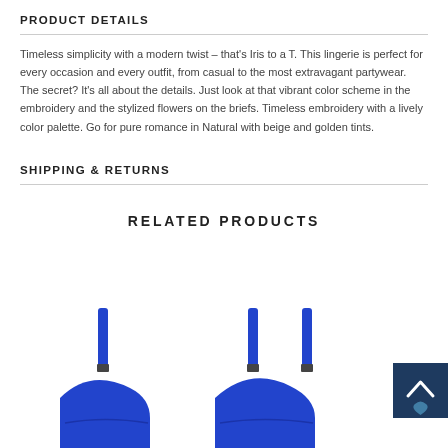PRODUCT DETAILS
Timeless simplicity with a modern twist – that's Iris to a T. This lingerie is perfect for every occasion and every outfit, from casual to the most extravagant partywear. The secret? It's all about the details. Just look at that vibrant color scheme in the embroidery and the stylized flowers on the briefs. Timeless embroidery with a lively color palette. Go for pure romance in Natural with beige and golden tints.
SHIPPING & RETURNS
RELATED PRODUCTS
[Figure (photo): Related lingerie products shown at the bottom — two blue bra/lingerie items partially visible, and a dark navy scroll-to-top button with a chevron icon on the far right.]